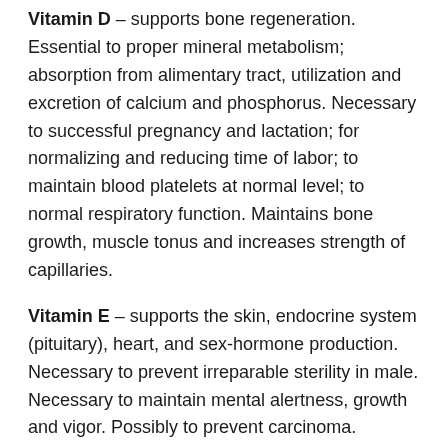Vitamin D – supports bone regeneration. Essential to proper mineral metabolism; absorption from alimentary tract, utilization and excretion of calcium and phosphorus. Necessary to successful pregnancy and lactation; for normalizing and reducing time of labor; to maintain blood platelets at normal level; to normal respiratory function. Maintains bone growth, muscle tonus and increases strength of capillaries.
Vitamin E – supports the skin, endocrine system (pituitary), heart, and sex-hormone production. Necessary to prevent irreparable sterility in male. Necessary to maintain mental alertness, growth and vigor. Possibly to prevent carcinoma. Necessary to resistance to infections.
Vitamin F – (Essential Fatty Acids) transports calcium from the blood into bones and tissues; necessary to cell